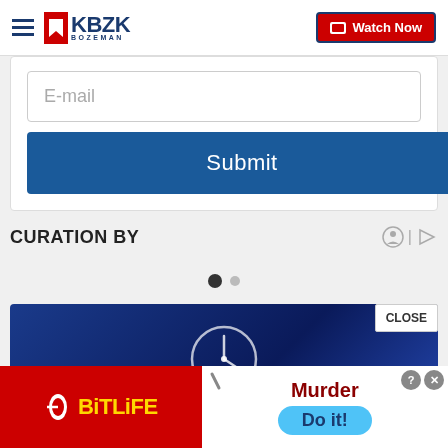KBZK BOZEMAN — Watch Now
E-mail
Submit
CURATION BY
[Figure (screenshot): Article thumbnail showing a clock icon on a dark blue background]
CLOSE
[Figure (illustration): BitLife advertisement with red background and yellow BitLife logo on left; murder-themed game ad on right with Do it! button]